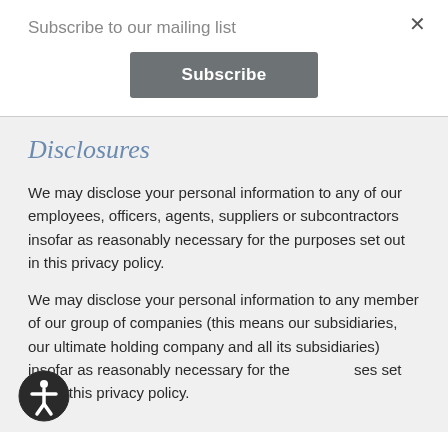Subscribe to our mailing list
Subscribe
Disclosures
We may disclose your personal information to any of our employees, officers, agents, suppliers or subcontractors insofar as reasonably necessary for the purposes set out in this privacy policy.
We may disclose your personal information to any member of our group of companies (this means our subsidiaries, our ultimate holding company and all its subsidiaries) insofar as reasonably necessary for the purposes set out in this privacy policy.